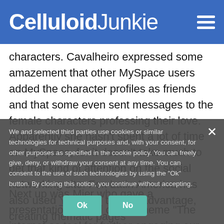Celluloid Junkie
characters. Cavalheiro expressed some amazement that other MySpace users added the character profiles as friends and that some even sent messages to the female characters professing their love. Apparently she hasn't spent a lot of time on MySpace, for it doesn't take much to get that kind of attention on the social networking site. Fox Latin America has also used YouTube to their advantage, creating thematic pages around some of their films and posting post interviews, and selected some of their productions.
Next up was Mier who gave a presentation based on the theme "The internet as tool for further engaging our audiences in the movie going experience." Like Fox, Cinépolis is trying to get moviegoers to interact with the...
We and selected third parties use cookies or similar technologies for technical purposes and, with your consent, for other purposes as specified in the cookie policy. You can freely give, deny, or withdraw your consent at any time. You can consent to the use of such technologies by using the "Ok" button. By closing this notice, you continue without accepting.